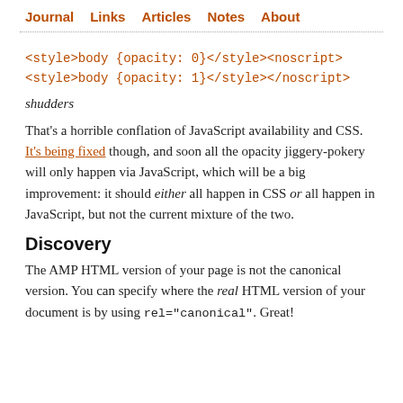Journal  Links  Articles  Notes  About
<style>body {opacity: 0}</style><noscript>
<style>body {opacity: 1}</style></noscript>
shudders
That's a horrible conflation of JavaScript availability and CSS. It's being fixed though, and soon all the opacity jiggery-pokery will only happen via JavaScript, which will be a big improvement: it should either all happen in CSS or all happen in JavaScript, but not the current mixture of the two.
Discovery
The AMP HTML version of your page is not the canonical version. You can specify where the real HTML version of your document is by using rel="canonical". Great!